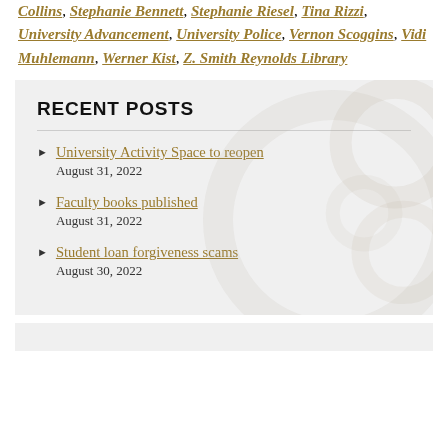Collins, Stephanie Bennett, Stephanie Riesel, Tina Rizzi, University Advancement, University Police, Vernon Scoggins, Vidi Muhlemann, Werner Kist, Z. Smith Reynolds Library
RECENT POSTS
University Activity Space to reopen
August 31, 2022
Faculty books published
August 31, 2022
Student loan forgiveness scams
August 30, 2022